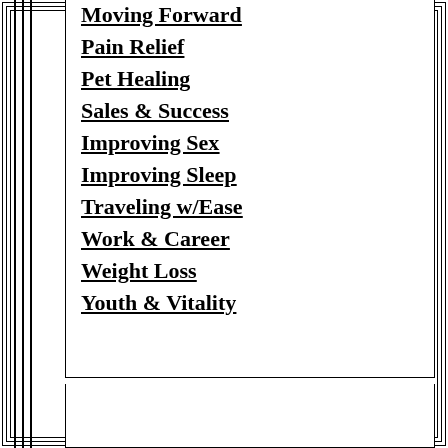Moving Forward
Pain Relief
Pet Healing
Sales & Success
Improving Sex
Improving Sleep
Traveling w/Ease
Work & Career
Weight Loss
Youth & Vitality